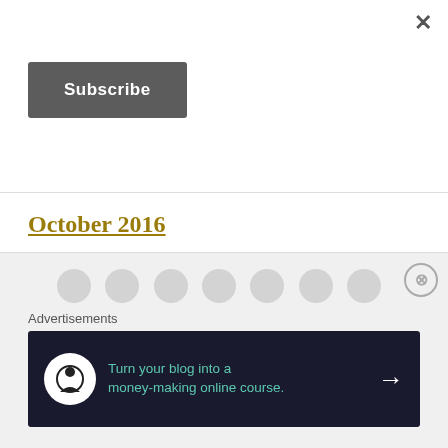×
Subscribe
October 2016
September 2016
August 2016
June 2016
Advertisements
[Figure (infographic): Advertisement banner: dark navy background with a white circle icon (tree/person silhouette), teal text reading 'Turn your blog into a money-making online course.' with a white right arrow.]